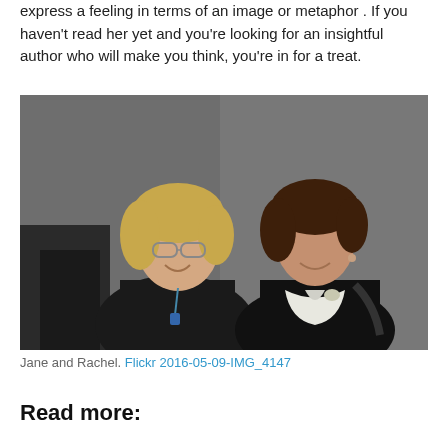express a feeling in terms of an image or metaphor . If you haven't read her yet and you're looking for an insightful author who will make you think, you're in for a treat.
[Figure (photo): Two women sitting together and smiling. The woman on the left has blonde hair and glasses and is wearing a dark blazer with a blue lanyard. The woman on the right has brown hair and is wearing a dark blazer with a white scarf.]
Jane and Rachel. Flickr 2016-05-09-IMG_4147
Read more: